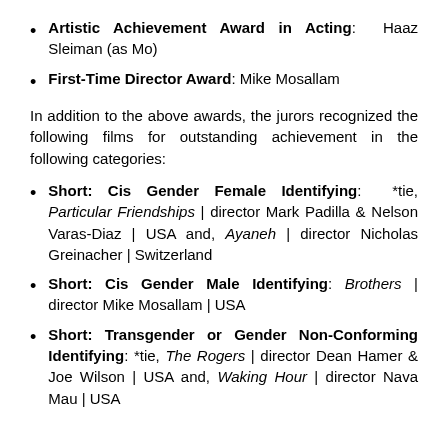Artistic Achievement Award in Acting: Haaz Sleiman (as Mo)
First-Time Director Award: Mike Mosallam
In addition to the above awards, the jurors recognized the following films for outstanding achievement in the following categories:
Short: Cis Gender Female Identifying: *tie, Particular Friendships | director Mark Padilla & Nelson Varas-Diaz | USA and, Ayaneh | director Nicholas Greinacher | Switzerland
Short: Cis Gender Male Identifying: Brothers | director Mike Mosallam | USA
Short: Transgender or Gender Non-Conforming Identifying: *tie, The Rogers | director Dean Hamer & Joe Wilson | USA and, Waking Hour | director Nava Mau | USA